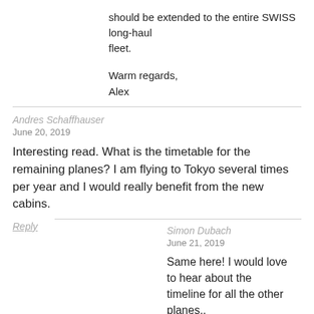should be extended to the entire SWISS long-haul fleet.
Warm regards,
Alex
Andres Schaffhauser
June 20, 2019
Interesting read. What is the timetable for the remaining planes? I am flying to Tokyo several times per year and I would really benefit from the new cabins.
Reply
Simon Dubach
June 21, 2019
Same here! I would love to hear about the timeline for all the other planes..